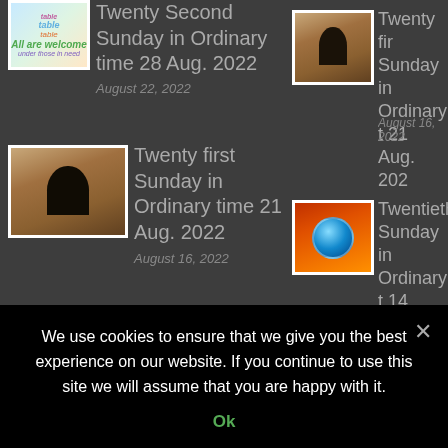[Figure (illustration): Thumbnail image with word cloud showing 'all are welcome' and 'those in need' text]
Twenty Second Sunday in Ordinary time 28 Aug. 2022
August 22, 2022
[Figure (photo): Stone arch doorway photo]
Twenty fir Sunday in Ordinary t 21 Aug. 202
August 16, 2022
[Figure (photo): Stone arch doorway photo]
Twenty first Sunday in Ordinary time 21 Aug. 2022
August 16, 2022
[Figure (photo): Earth globe surrounded by fire]
Twentieth Sunday in Ordinary t 14 Aug. 202
August 08, 2022
[Figure (photo): Earth globe surrounded by fire]
Twentieth Sunday in Ordinary time
[Figure (photo): Bird in flight against blue sky]
Nineteenth Sunday in
We use cookies to ensure that we give you the best experience on our website. If you continue to use this site we will assume that you are happy with it.
Ok